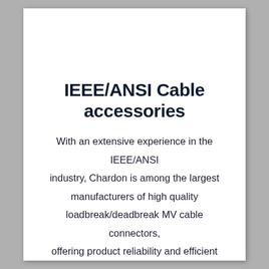IEEE/ANSI Cable accessories
With an extensive experience in the IEEE/ANSI industry, Chardon is among the largest manufacturers of high quality loadbreak/deadbreak MV cable connectors, offering product reliability and efficient